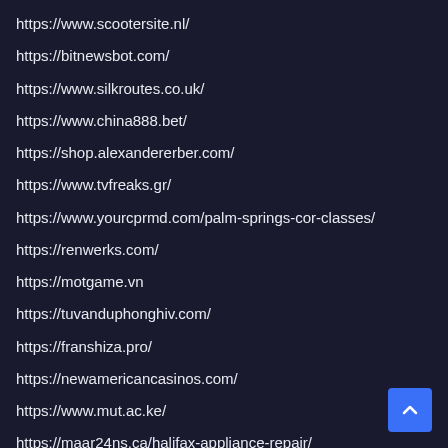https://www.scootersite.nl/
https://bitnewsbot.com/
https://www.silkroutes.co.uk/
https://www.china888.bet/
https://shop.alexandererber.com/
https://www.tvfreaks.gr/
https://www.yourcprmd.com/palm-springs-cor-classes/
https://renwerks.com/
https://motgame.vn
https://tuvanduphonghiv.com/
https://franshiza.pro/
https://newamericancasinos.com/
https://www.mut.ac.ke/
https://maar24ns.ca/halifax-appliance-repair/
https://pansionat-tulskij-dedushka.ru/